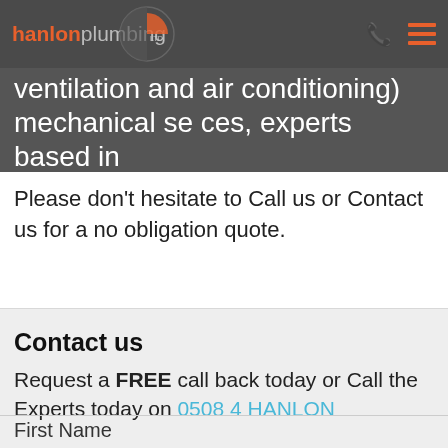hanlon plumbing ltd — navigation bar with phone and menu icons
ventilation and air conditioning) mechanical services, experts based in Christchurch and Southern Lakes District?
Please don't hesitate to Call us or Contact us for a no obligation quote.
Contact us
Request a FREE call back today or Call the Experts today on 0508 4 HANLON
First Name